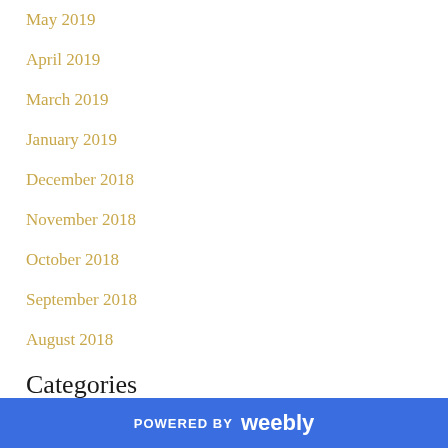May 2019
April 2019
March 2019
January 2019
December 2018
November 2018
October 2018
September 2018
August 2018
Categories
All
POWERED BY weebly